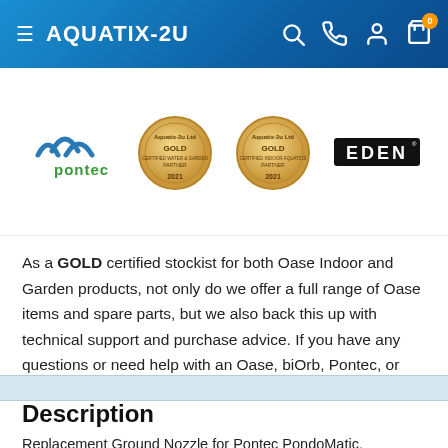AQUATIX-2U
[Figure (logo): Pontec logo (blue wave arcs above text 'pontec'), two gold Aquatix-2u Ltd Gold Certified Partner medals for 2021, and EDEN logo in black]
As a GOLD certified stockist for both Oase Indoor and Garden products, not only do we offer a full range of Oase items and spare parts, but we also back this up with technical support and purchase advice. If you have any questions or need help with an Oase, biOrb, Pontec, or Eden product, you can contact us here.
Description
Replacement Ground Nozzle for Pontec PondoMatic.